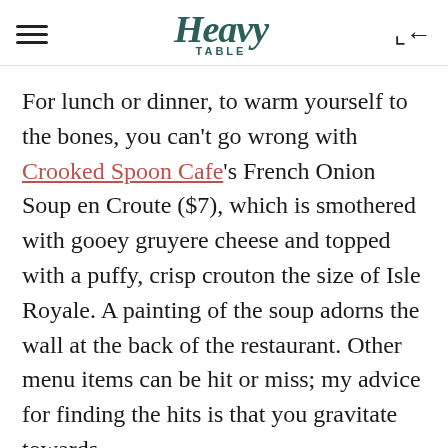Heavy Table
For lunch or dinner, to warm yourself to the bones, you can't go wrong with Crooked Spoon Cafe's French Onion Soup en Croute ($7), which is smothered with gooey gruyere cheese and topped with a puffy, crisp crouton the size of Isle Royale. A painting of the soup adorns the wall at the back of the restaurant. Other menu items can be hit or miss; my advice for finding the hits is that you gravitate towards